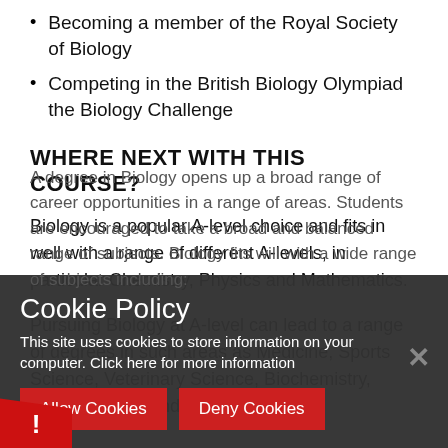Becoming a member of the Royal Society of Biology
Competing in the British Biology Olympiad the Biology Challenge
WHERE NEXT WITH THIS COURSE?
Biology is a popular A-level choice and fits in well with a range of different A-levels, in particular Chemistry, Physics and Mathematics.
Pursuing Biology at A-level can lead to a range of degrees in such areas as Medicine, Sports Science, Veterinary Science, Biochemistry, Pharmacology and Dentistry.
A degree in Biology opens up a broad range of career opportunities in a range of areas...
[Figure (screenshot): Cookie policy overlay banner with title 'Cookie Policy', body text about cookies, Allow Cookies and Deny Cookies buttons, close X button, and red exclamation icon]